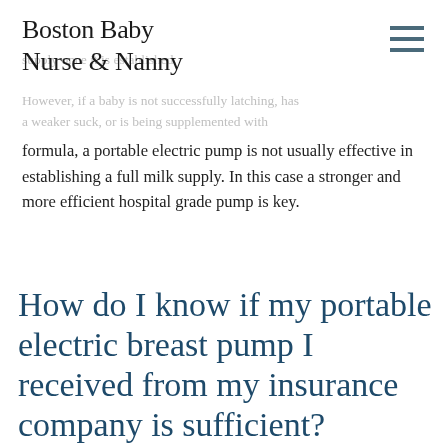Boston Baby Nurse & Nanny
mothers with a pump. Most electric, double breast pumps are effective at maintaining a mother's milk supply once it is established.
However, if a baby is not successfully latching, has a weaker suck, or is being supplemented with formula, a portable electric pump is not usually effective in establishing a full milk supply. In this case a stronger and more efficient hospital grade pump is key.
How do I know if my portable electric breast pump I received from my insurance company is sufficient?